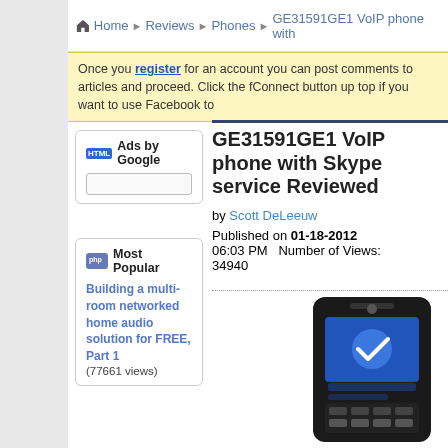Home > Reviews > Phones > GE31591GE1 VoIP phone with Skype service Reviewed
Once you register for an account you can post comments to articles and proceed. Click the fConnect button up top if you want to use Facebook to
Ads by Google
Most Popular
Building a multi-room networked home audio solution for FREE, Part 1 (77661 views)
GE31591GE1 VoIP phone with Skype service Reviewed
by Scott DeLeeuw
Published on 01-18-2012 06:03 PM  Number of Views: 34940
[Figure (photo): GE31591GE1 VoIP phone handset with Skype service, black device with screen showing blue interface]